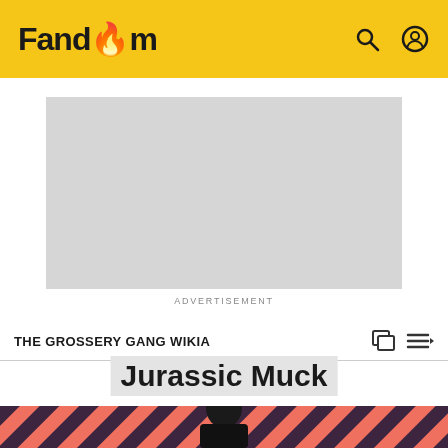Fandom
[Figure (other): Gray advertisement placeholder rectangle]
ADVERTISEMENT
THE GROSSERY GANG WIKIA
Jurassic Muck
[Figure (photo): Character photo against diagonal salmon/dark striped background, man in dark clothing looking intensely at camera]